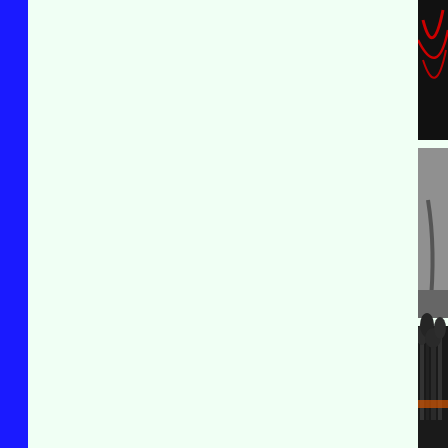[Figure (other): Page layout with a blue vertical bar on the left, a large mint/cream colored blank area in the center, and a narrow right column showing partial thumbnail images including: a dark image with red curved lines at top, a gray abstract image, a black and white forest/tree image, a white chair sketch/illustration, a wooden rustic scene photo, and an orange/figure image at bottom.]